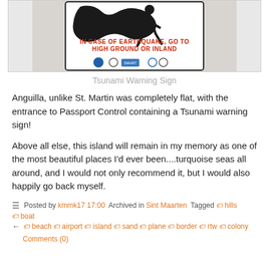[Figure (photo): Tsunami warning sign reading 'IN CASE OF EARTHQUAKE, GO TO HIGH GROUND OR INLAND' with NOAA and other agency logos, against a light gray background]
Tsunami Warning Sign
Anguilla, unlike St. Martin was completely flat, with the entrance to Passport Control containing a Tsunami warning sign!
Above all else, this island will remain in my memory as one of the most beautiful places I'd ever been....turquoise seas all around, and I would not only recommend it, but I would also happily go back myself.
Posted by kmmk17 17:00  Archived in Sint Maarten  Tagged ❧ hills ❧ boat ← ❧ beach ❧ airport ❧ island ❧ sand ❧ plane ❧ border ❧ rtw ❧ colony
Comments (0)